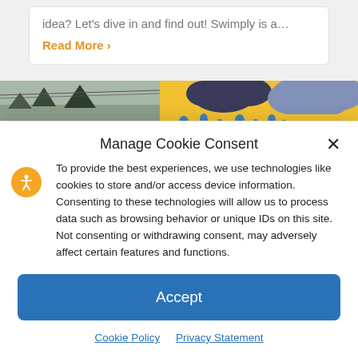idea? Let's dive in and find out! Swimply is a…
Read More ›
[Figure (photo): Colorful mural image strip with clouds and geometric shapes in yellow, blue, and dark colors]
Manage Cookie Consent
To provide the best experiences, we use technologies like cookies to store and/or access device information. Consenting to these technologies will allow us to process data such as browsing behavior or unique IDs on this site. Not consenting or withdrawing consent, may adversely affect certain features and functions.
Accept
Cookie Policy   Privacy Statement